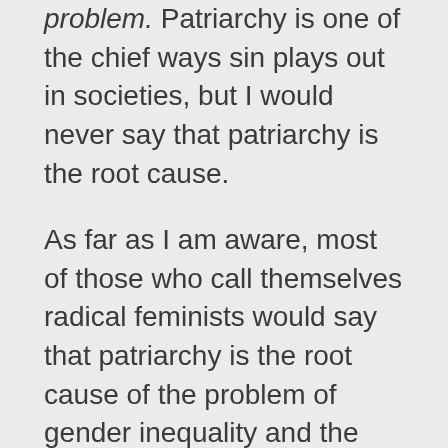problem. Patriarchy is one of the chief ways sin plays out in societies, but I would never say that patriarchy is the root cause.
As far as I am aware, most of those who call themselves radical feminists would say that patriarchy is the root cause of the problem of gender inequality and the oppression of women. Hence, I would not call myself a radical feminist.
I think you are our first commenter who has described herself as a radical feminist. I am happy for you to interact on our blog, but I wanted